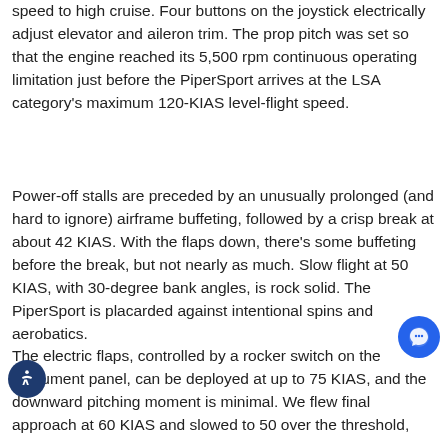speed to high cruise. Four buttons on the joystick electrically adjust elevator and aileron trim. The prop pitch was set so that the engine reached its 5,500 rpm continuous operating limitation just before the PiperSport arrives at the LSA category's maximum 120-KIAS level-flight speed.
Power-off stalls are preceded by an unusually prolonged (and hard to ignore) airframe buffeting, followed by a crisp break at about 42 KIAS. With the flaps down, there's some buffeting before the break, but not nearly as much. Slow flight at 50 KIAS, with 30-degree bank angles, is rock solid. The PiperSport is placarded against intentional spins and aerobatics.
The electric flaps, controlled by a rocker switch on the instrument panel, can be deployed at up to 75 KIAS, and the downward pitching moment is minimal. We flew final approach at 60 KIAS and slowed to 50 over the threshold,